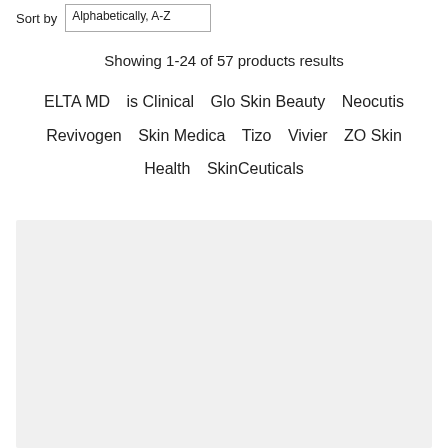Sort by   Alphabetically, A-Z
Showing 1-24 of 57 products results
ELTA MD   is Clinical   Glo Skin Beauty   Neocutis   Revivogen   Skin Medica   Tizo   Vivier   ZO Skin Health   SkinCeuticals
[Figure (other): Gray placeholder box for product images]